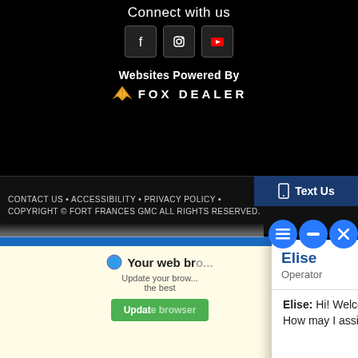Connect with us
[Figure (screenshot): Social media icons: Facebook, Instagram, YouTube]
Websites Powered By
[Figure (logo): Fox Dealer logo with wing emblem and text FOX DEALER]
CONTACT US • ACCESSIBILITY • PRIVACY POLICY •
COPYRIGHT © FORT FRANCES GMC ALL RIGHTS RESERVED.
[Figure (screenshot): Chat widget overlay showing Elise, Operator at Fort Frances GM. Message: Hi! Welcome to Fort Frances GM. How may I assist you? With text input area and send button. Powered By: LiveAdmins]
Your web bro...
Update your brow... the best
Update browser